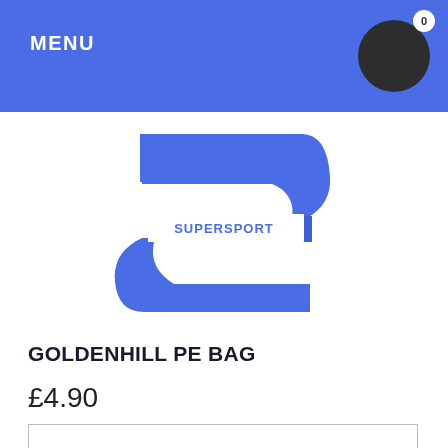MENU
[Figure (logo): Supersport logo — a stylized blue letter S shape with the word SUPERSPORT written horizontally across the middle in white text]
GOLDENHILL PE BAG
£4.90